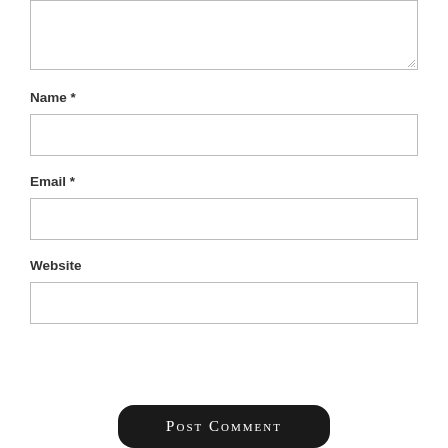(textarea - comment input box at top)
Name *
(name input box)
Email *
(email input box)
Website
(website input box)
Post Comment